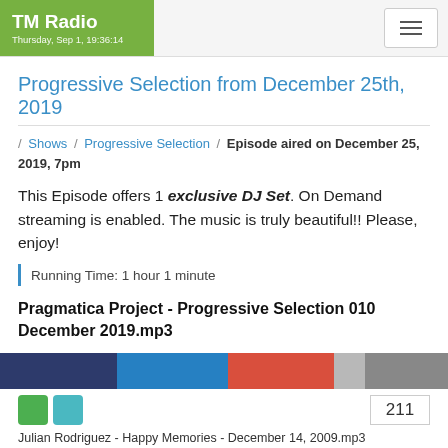TM Radio — Thursday, Sep 1, 19:36:14
Progressive Selection from December 25th, 2019
/ Shows / Progressive Selection / Episode aired on December 25, 2019, 7pm
This Episode offers 1 exclusive DJ Set. On Demand streaming is enabled. The music is truly beautiful!! Please, enjoy!
Running Time: 1 hour 1 minute
Pragmatica Project - Progressive Selection 010 December 2019.mp3
[Figure (other): Audio player progress/waveform bar with colored segments: dark blue, blue, red, light gray, dark gray]
211
Julian Rodriguez - Happy Memories - December 14, 2009.mp3